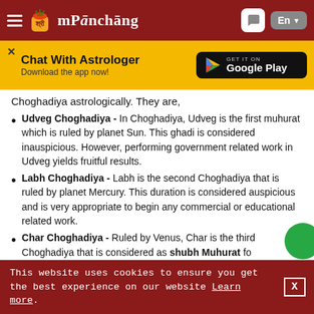mPanchang - Chat With Astrologer - Download the app now!
Choghadiya astrologically. They are,
Udveg Choghadiya - In Choghadiya, Udveg is the first muhurat which is ruled by planet Sun. This ghadi is considered inauspicious. However, performing government related work in Udveg yields fruitful results.
Labh Choghadiya - Labh is the second Choghadiya that is ruled by planet Mercury. This duration is considered auspicious and is very appropriate to begin any commercial or educational related work.
Char Choghadiya - Ruled by Venus, Char is the third Choghadiya that is considered as shubh Muhurat for...
This website uses cookies to ensure you get the best experience on our website Learn more.